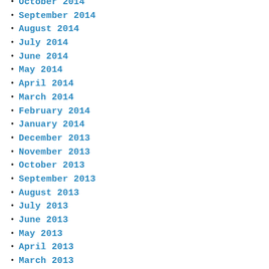October 2014
September 2014
August 2014
July 2014
June 2014
May 2014
April 2014
March 2014
February 2014
January 2014
December 2013
November 2013
October 2013
September 2013
August 2013
July 2013
June 2013
May 2013
April 2013
March 2013
February 2013
January 2013
December 2012
November 2012
October 2012
September 2012